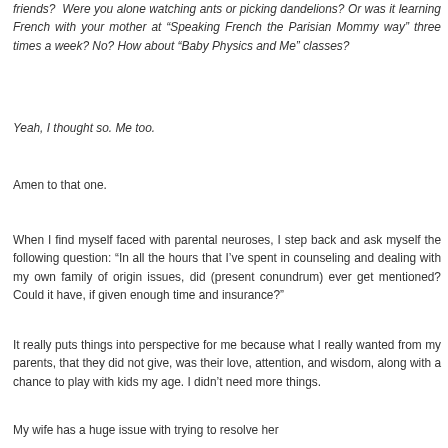friends? Were you alone watching ants or picking dandelions? Or was it learning French with your mother at “Speaking French the Parisian Mommy way” three times a week? No? How about “Baby Physics and Me” classes?
Yeah, I thought so. Me too.
Amen to that one.
When I find myself faced with parental neuroses, I step back and ask myself the following question: “In all the hours that I’ve spent in counseling and dealing with my own family of origin issues, did (present conundrum) ever get mentioned? Could it have, if given enough time and insurance?”
It really puts things into perspective for me because what I really wanted from my parents, that they did not give, was their love, attention, and wisdom, along with a chance to play with kids my age. I didn’t need more things.
My wife has a huge issue with trying to resolve her